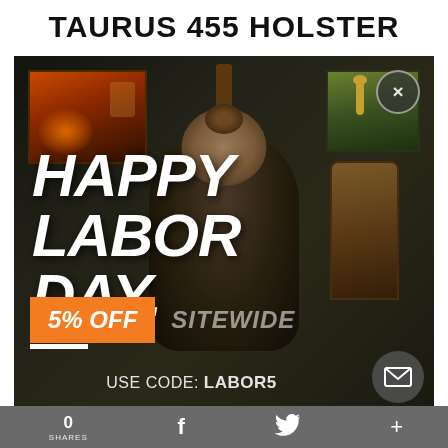TAURUS 455 HOLSTER
[Figure (screenshot): Popup advertisement overlay showing a man seated in a dark room with paintings on the wall. Large white bold italic text reads 'HAPPY LABOR DAY.' with an orange badge showing '5% OFF' and 'SITEWIDE' text. Bottom text reads 'USE CODE: LABOR5'. Close button (×) in top right corner. Email icon in bottom right corner.]
0 SHARES   f   🐦   +